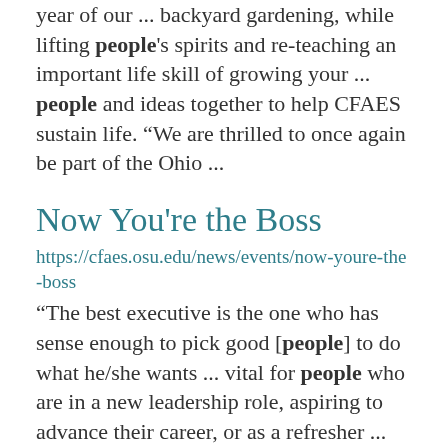year of our ... backyard gardening, while lifting people's spirits and re-teaching an important life skill of growing your ... people and ideas together to help CFAES sustain life. “We are thrilled to once again be part of the Ohio ...
Now You're the Boss
https://cfaes.osu.edu/news/events/now-youre-the-boss
“The best executive is the one who has sense enough to pick good [people] to do what he/she wants ... vital for people who are in a new leadership role, aspiring to advance their career, or as a refresher ...